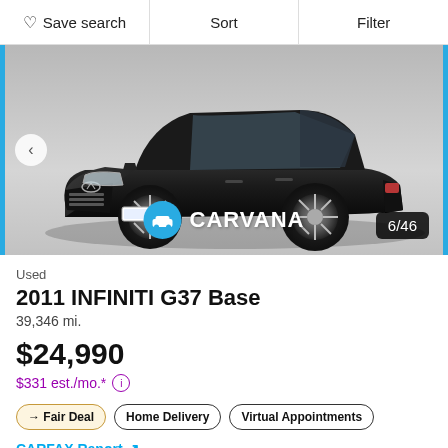Save search | Sort | Filter
[Figure (photo): Black 2011 INFINITI G37 Base sedan shown at a slight angle from the front, on a light grey background. Carvana watermark logo and '6/46' photo counter visible. Left/right navigation arrows on image edges. Blue vertical borders on left and right of image.]
Used
2011 INFINITI G37 Base
39,346 mi.
$24,990
$331 est./mo.* ⓘ
→ Fair Deal
Home Delivery
Virtual Appointments
CARFAX Report ↗